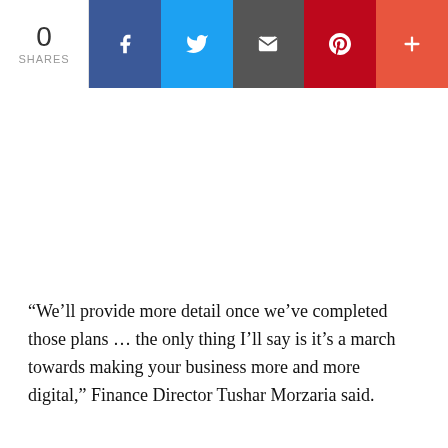[Figure (infographic): Social share bar showing 0 shares with buttons for Facebook (blue), Twitter (light blue), Email (grey), Pinterest (red), and More (orange-red)]
“We’ll provide more detail once we’ve completed those plans … the only thing I’ll say is it’s a march towards making your business more and more digital,” Finance Director Tushar Morzaria said.